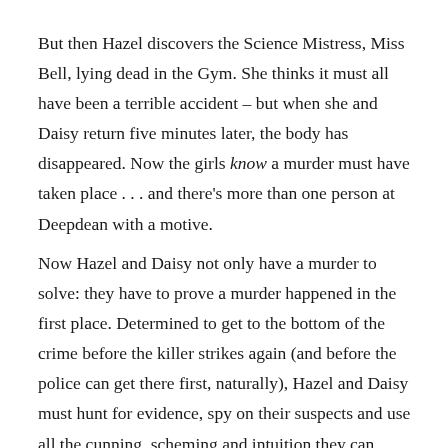But then Hazel discovers the Science Mistress, Miss Bell, lying dead in the Gym. She thinks it must all have been a terrible accident – but when she and Daisy return five minutes later, the body has disappeared. Now the girls know a murder must have taken place . . . and there's more than one person at Deepdean with a motive.
Now Hazel and Daisy not only have a murder to solve: they have to prove a murder happened in the first place. Determined to get to the bottom of the crime before the killer strikes again (and before the police can get there first, naturally), Hazel and Daisy must hunt for evidence, spy on their suspects and use all the cunning, scheming and intuition they can muster. But will they succeed? And can their friendship stand the test?